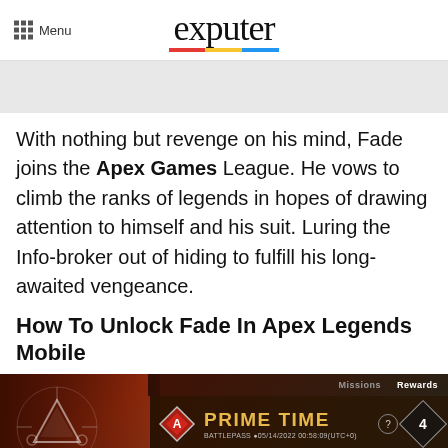Menu | exputer
[Figure (other): Grey advertisement placeholder banner]
With nothing but revenge on his mind, Fade joins the Apex Games League. He vows to climb the ranks of legends in hopes of drawing attention to himself and his suit. Luring the Info-broker out of hiding to fulfill his long-awaited vengeance.
How To Unlock Fade In Apex Legends Mobile
[Figure (screenshot): Screenshot of Apex Legends Mobile game UI showing the PRIME TIME battle pass screen with diamond logo, orange title text, timer, number badge showing '4', and a row of locked item boxes at the bottom.]